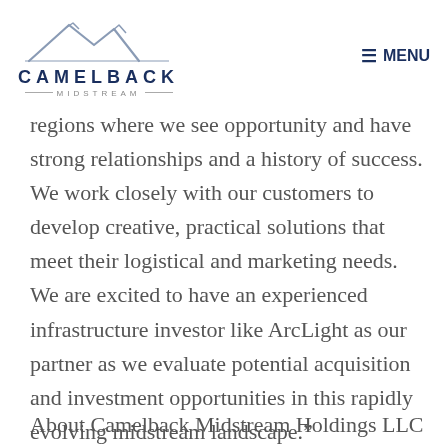CAMELBACK MIDSTREAM | MENU
regions where we see opportunity and have strong relationships and a history of success. We work closely with our customers to develop creative, practical solutions that meet their logistical and marketing needs.  We are excited to have an experienced infrastructure investor like ArcLight as our partner as we evaluate potential acquisition and investment opportunities in this rapidly evolving midstream landscape."
About Camelback Midstream Holdings LLC